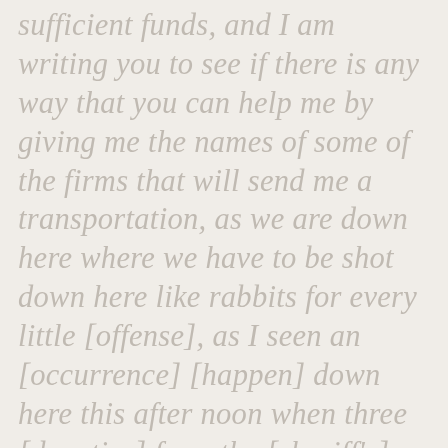sufficient funds, and I am writing you to see if there is any way that you can help me by giving me the names of some of the firms that will send me a transportation, as we are down here where we have to be shot down here like rabbits for every little [offense], as I seen an [occurrence] [happen] down here this after noon when three [deputies] from the [sheriff's] office [and] one Negro spotter come out and found some of our [race men] in a crap game. And it makes me want to leave the south worse than I ever did when such things hapen right at my door. hopeing to